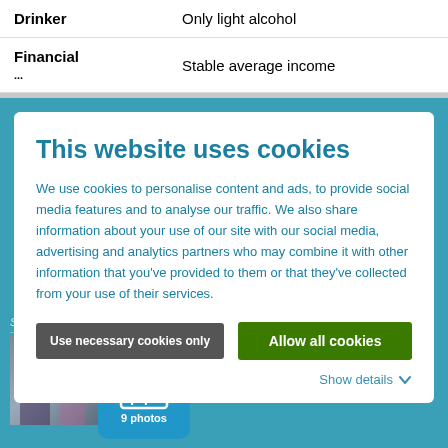| Drinker | Only light alcohol |
| Financial ... | Stable average income |
Summer colors   Sports girl
[Figure (screenshot): Photo thumbnail of a person exercising in a gym, with a blue folder icon overlay showing '9 photos']
[Figure (screenshot): Cookie consent dialog overlay on a teal background. Title: 'This website uses cookies'. Body text about cookie usage and data sharing. Two buttons: 'Use necessary cookies only' (grey) and 'Allow all cookies' (green). Show details link at bottom.]
This website uses cookies
We use cookies to personalise content and ads, to provide social media features and to analyse our traffic. We also share information about your use of our site with our social media, advertising and analytics partners who may combine it with other information that you've provided to them or that they've collected from your use of their services.
Use necessary cookies only
Allow all cookies
Show details